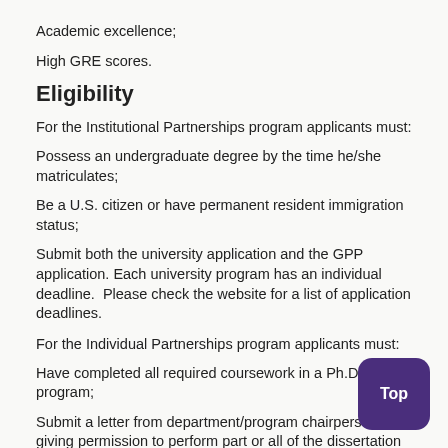Academic excellence;
High GRE scores.
Eligibility
For the Institutional Partnerships program applicants must:
Possess an undergraduate degree by the time he/she matriculates;
Be a U.S. citizen or have permanent resident immigration status;
Submit both the university application and the GPP application. Each university program has an individual deadline.  Please check the website for a list of application deadlines.
For the Individual Partnerships program applicants must:
Have completed all required coursework in a Ph.D. program;
Submit a letter from department/program chairperson giving permission to perform part or all of the dissertation research at NIH;
Complete the GPP application for Current Ph.D. students
Identify an NIH Investigator for a host laboratory;
If a non-U.S. citizen, apply for the appropriate visa